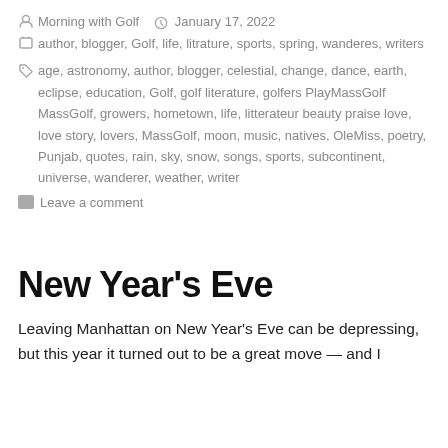Morning with Golf   January 17, 2022
author, blogger, Golf, life, litrature, sports, spring, wanderes, writers
age, astronomy, author, blogger, celestial, change, dance, earth, eclipse, education, Golf, golf literature, golfers PlayMassGolf MassGolf, growers, hometown, life, litterateur beauty praise love, love story, lovers, MassGolf, moon, music, natives, OleMiss, poetry, Punjab, quotes, rain, sky, snow, songs, sports, subcontinent, universe, wanderer, weather, writer
Leave a comment
New Year's Eve
Leaving Manhattan on New Year's Eve can be depressing, but this year it turned out to be a great move — and I